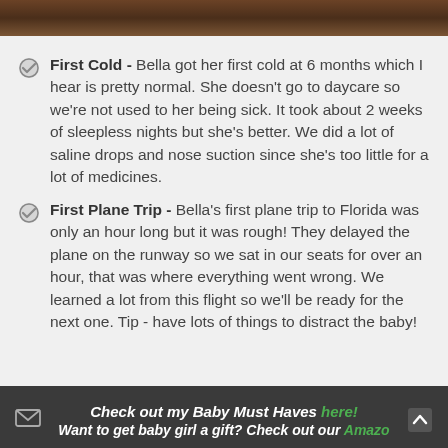[Figure (photo): Partial photo strip at top of page, dark brownish tones]
First Cold - Bella got her first cold at 6 months which I hear is pretty normal. She doesn't go to daycare so we're not used to her being sick. It took about 2 weeks of sleepless nights but she's better. We did a lot of saline drops and nose suction since she's too little for a lot of medicines.
First Plane Trip - Bella's first plane trip to Florida was only an hour long but it was rough! They delayed the plane on the runway so we sat in our seats for over an hour, that was where everything went wrong. We learned a lot from this flight so we'll be ready for the next one. Tip - have lots of things to distract the baby!
Check out my Baby Must Haves here!
Want to get baby girl a gift? Check out our Amazon...